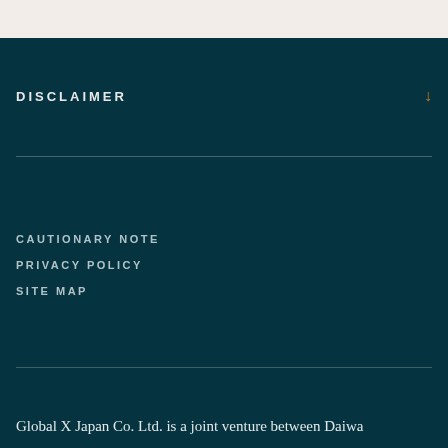DISCLAIMER
CAUTIONARY NOTE
PRIVACY POLICY
SITE MAP
Global X Japan Co. Ltd. is a joint venture between Daiwa